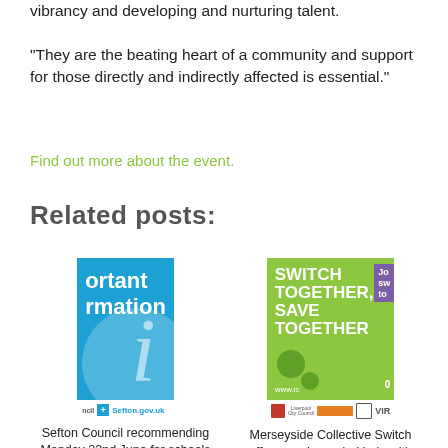vibrancy and developing and nurturing talent.
“They are the beating heart of a community and support for those directly and indirectly affected is essential.”
Find out more about the event.
Related posts:
[Figure (photo): Blue banner image with text 'ortant rmation' (important information) and a large italic 'i', with Sefton.gov.uk logo at bottom]
Sefton Council recommending Monday 22nd June for schools re-opening
[Figure (photo): Green banner image with text 'SWITCH TOGETHER, SAVE TOGETHER' with partner logos at bottom]
Merseyside Collective Switch offers much needed help with energy bills